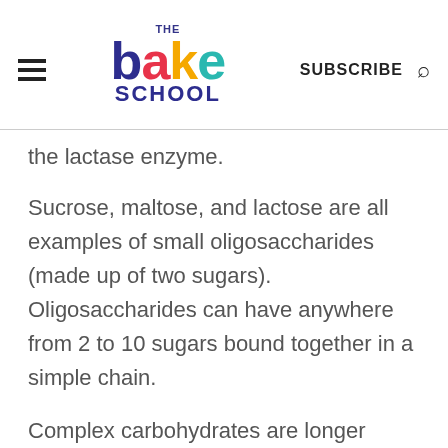THE BAKE SCHOOL | SUBSCRIBE
the lactase enzyme.
Sucrose, maltose, and lactose are all examples of small oligosaccharides (made up of two sugars). Oligosaccharides can have anywhere from 2 to 10 sugars bound together in a simple chain.
Complex carbohydrates are longer chains of sugars that have a more